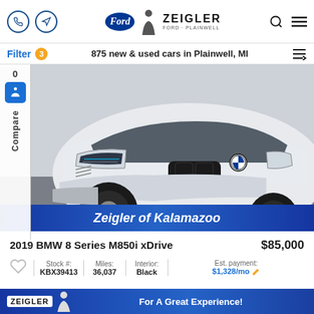Zeigler Ford Plainwell — navigation header with phone, directions, Ford logo, Zeigler branding, search and menu icons
Filter 3  875 new & used cars in Plainwell, MI
[Figure (photo): White 2019 BMW 8 Series M850i xDrive front three-quarter view in a showroom setting, with a blue Zeigler of Kalamazoo banner overlay at the bottom of the image]
2019 BMW 8 Series M850i xDrive  $85,000
Stock #: KBX39413 | Miles: 36,037 | Interior: Black | Est. payment: $1,328/mo
Zeigler — For A Great Experience!